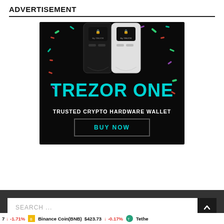ADVERTISEMENT
[Figure (illustration): Trezor One hardware wallet advertisement banner. Black background with colorful confetti. Two Trezor One devices (black and white) shown at top. Large cyan text reads TREZOR ONE. Below it says TRUSTED CRYPTO HARDWARE WALLET. A BUY NOW button with cyan text appears at the bottom.]
SEARCH ...
-1.71%  Binance Coin(BNB) $423.73  -0.17%  Tethe